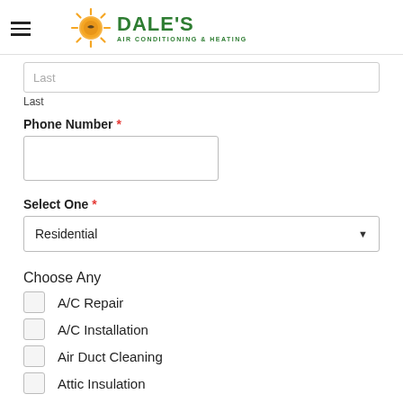Dale's Air Conditioning & Heating
Last
Last
Phone Number *
Select One *
Residential
Choose Any
A/C Repair
A/C Installation
Air Duct Cleaning
Attic Insulation